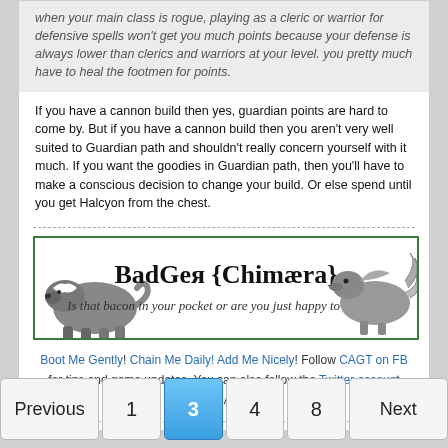when your main class is rogue, playing as a cleric or warrior for defensive spells won't get you much points because your defense is always lower than clerics and warriors at your level. you pretty much have to heal the footmen for points.
If you have a cannon build then yes, guardian points are hard to come by. But if you have a cannon build then you aren't very well suited to Guardian path and shouldn't really concern yourself with it much. If you want the goodies in Guardian path, then you'll have to make a conscious decision to change your build. Or else spend until you get Halcyon from the chest.
[Figure (illustration): Badger Chimaera banner: illustration of a badger on the left and a chimera creature on the right, with text 'BadGer {Chimaera}' and tagline 'Is that bacon in your pocket or are you just happy to see me?', bordered in green]
Boot Me Gently! Chain Me Daily! Add Me Nicely! Follow CAGT on FB for tips and game updates. You can also follow the Twitter account @CastleAge_GT.
Previous
1
3
4
8
Next